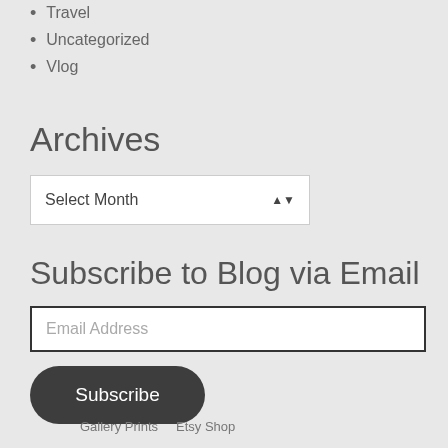Travel
Uncategorized
Vlog
Archives
Select Month
Subscribe to Blog via Email
Email Address
Subscribe
Gallery Prints   Etsy Shop